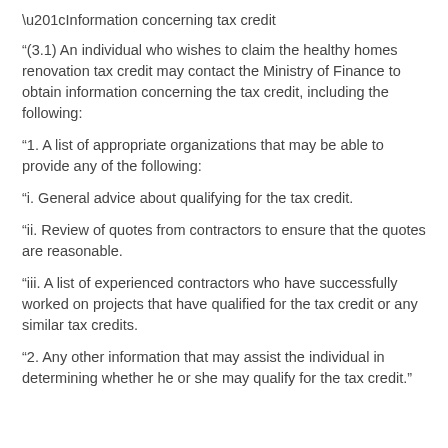“Information concerning tax credit
“(3.1) An individual who wishes to claim the healthy homes renovation tax credit may contact the Ministry of Finance to obtain information concerning the tax credit, including the following:
“1. A list of appropriate organizations that may be able to provide any of the following:
“i. General advice about qualifying for the tax credit.
“ii. Review of quotes from contractors to ensure that the quotes are reasonable.
“iii. A list of experienced contractors who have successfully worked on projects that have qualified for the tax credit or any similar tax credits.
“2. Any other information that may assist the individual in determining whether he or she may qualify for the tax credit.”